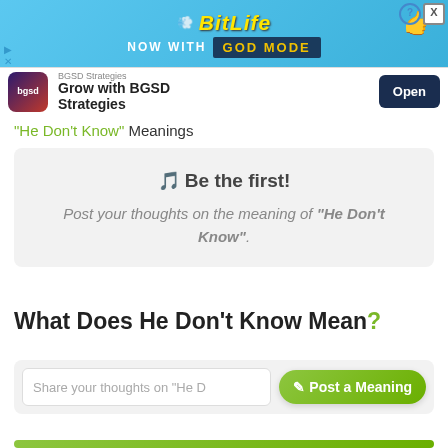[Figure (screenshot): BitLife advertisement banner with blue background showing 'BitLife NOW WITH GOD MODE' text and a BGSD Strategies ad below it with an Open button]
"He Don't Know" Meanings
🎵 Be the first!
Post your thoughts on the meaning of "He Don't Know".
What Does He Don't Know Mean?
Share your thoughts on "He D...
✏ Post a Meaning